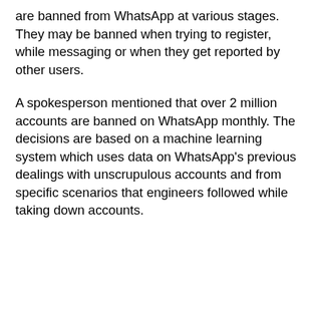are banned from WhatsApp at various stages. They may be banned when trying to register, while messaging or when they get reported by other users.
A spokesperson mentioned that over 2 million accounts are banned on WhatsApp monthly. The decisions are based on a machine learning system which uses data on WhatsApp's previous dealings with unscrupulous accounts and from specific scenarios that engineers followed while taking down accounts.